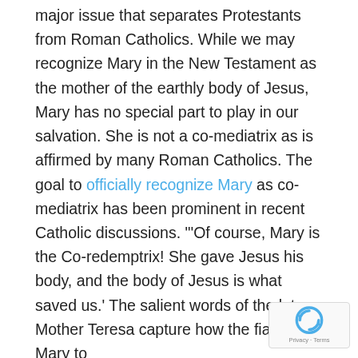major issue that separates Protestants from Roman Catholics. While we may recognize Mary in the New Testament as the mother of the earthly body of Jesus, Mary has no special part to play in our salvation. She is not a co-mediatrix as is affirmed by many Roman Catholics. The goal to officially recognize Mary as co-mediatrix has been prominent in recent Catholic discussions. "'Of course, Mary is the Co-redemptrix! She gave Jesus his body, and the body of Jesus is what saved us.' The salient words of the late Mother Teresa capture how the fiat of Mary to
[Figure (logo): reCAPTCHA badge with spinning arrows logo and Privacy - Terms text]